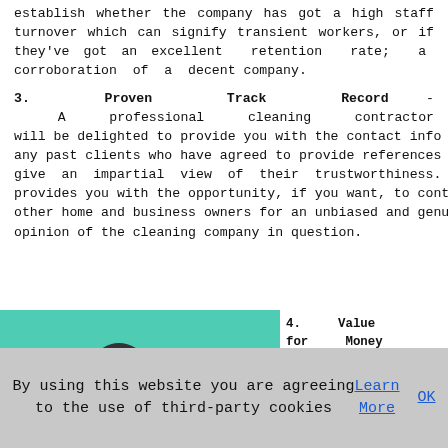establish whether the company has got a high staff turnover which can signify transient workers, or if they've got an excellent retention rate; a corroboration of a decent company.
3. Proven Track Record - A professional cleaning contractor will be delighted to provide you with the contact info of any past clients who have agreed to provide references and give an impartial view of their trustworthiness. This provides you with the opportunity, if you want, to contact other home and business owners for an unbiased and genuine opinion of the cleaning company in question.
[Figure (photo): Photo of cleaning supplies including a blue bucket, yellow rubber gloves, blue spray bottles, and yellow containers on a teal/green background]
4. Value for Money and Types of Services Offered - What level of service you need and if you have any
By using this website you are agreeing to the use of third-party cookies Learn More OK